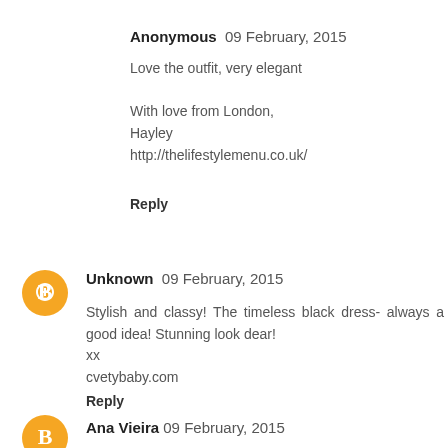Anonymous  09 February, 2015
Love the outfit, very elegant

With love from London,
Hayley
http://thelifestylemenu.co.uk/
Reply
[Figure (logo): Orange circular Blogger avatar icon]
Unknown  09 February, 2015
Stylish and classy! The timeless black dress- always a good idea! Stunning look dear!
xx
cvetybaby.com
Reply
[Figure (logo): Orange circular Blogger avatar icon]
Ana Vieira  09 February, 2015